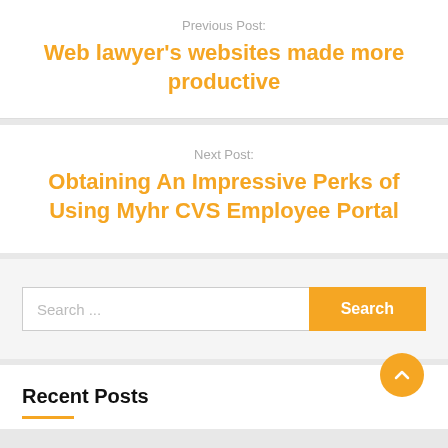Previous Post:
Web lawyer's websites made more productive
Next Post:
Obtaining An Impressive Perks of Using Myhr CVS Employee Portal
Search ...
Recent Posts